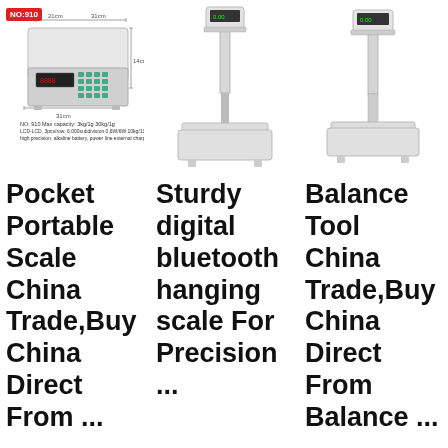[Figure (photo): Pocket portable digital counting scale (NO:910) with dimension labels and spec text]
[Figure (photo): Sturdy digital bluetooth hanging scale with tall pole and flat platform base]
[Figure (photo): Balance tool scale with tall pole and flat platform base]
Pocket Portable Scale China Trade,Buy China Direct From ...
Sturdy digital bluetooth hanging scale For Precision ...
Balance Tool China Trade,Buy China Direct From Balance ...